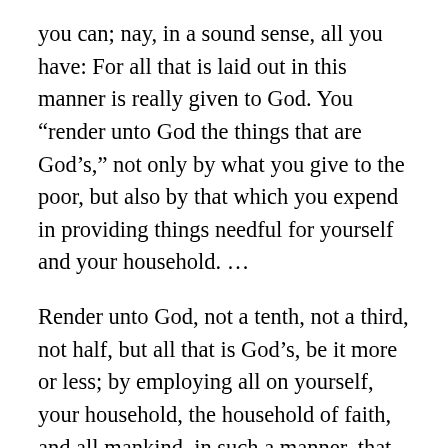you can; nay, in a sound sense, all you have: For all that is laid out in this manner is really given to God. You “render unto God the things that are God’s,” not only by what you give to the poor, but also by that which you expend in providing things needful for yourself and your household. …
Render unto God, not a tenth, not a third, not half, but all that is God’s, be it more or less; by employing all on yourself, your household, the household of faith, and all mankind, in such a manner, that you may give a good account of your stewardship. I entreat you, in the name of the Lord Jesus, act up to the dignity of your calling! No more sloth!